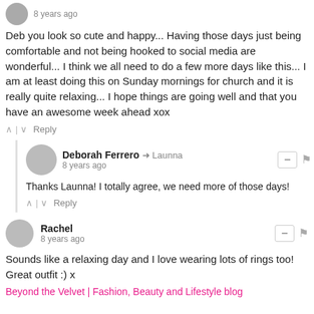8 years ago
Deb you look so cute and happy... Having those days just being comfortable and not being hooked to social media are wonderful... I think we all need to do a few more days like this... I am at least doing this on Sunday mornings for church and it is really quite relaxing... I hope things are going well and that you have an awesome week ahead xox
Reply
Deborah Ferrero → Launna
8 years ago
Thanks Launna! I totally agree, we need more of those days!
Reply
Rachel
8 years ago
Sounds like a relaxing day and I love wearing lots of rings too! Great outfit :) x
Beyond the Velvet | Fashion, Beauty and Lifestyle blog